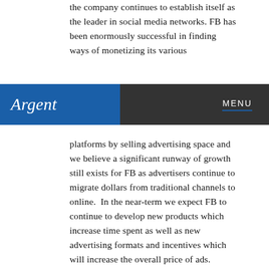the company continues to establish itself as the leader in social media networks. FB has been enormously successful in finding ways of monetizing its various
[Figure (logo): Argent logo and navigation bar. Blue rectangle on left with 'Argent' in italic white text, dark gray rectangle on right with 'MENU' in white caps with blue underline.]
platforms by selling advertising space and we believe a significant runway of growth still exists for FB as advertisers continue to migrate dollars from traditional channels to online.  In the near-term we expect FB to continue to develop new products which increase time spent as well as new advertising formats and incentives which will increase the overall price of ads. Longer-term, the company has opportunities within the artificial intelligence, search and payment spaces. We have added FB to our portfolio as we believe the growth potential of the company offers favorable odds for our